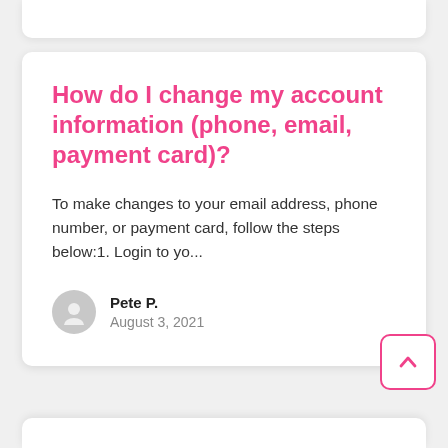How do I change my account information (phone, email, payment card)?
To make changes to your email address, phone number, or payment card, follow the steps below:1. Login to yo...
Pete P.
August 3, 2021